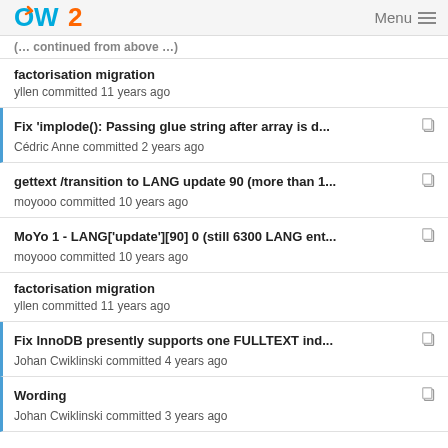OW2 Menu
factorisation migration
yllen committed 11 years ago
Fix 'implode(): Passing glue string after array is d...
Cédric Anne committed 2 years ago
gettext /transition to LANG update 90 (more than 1...
moyooo committed 10 years ago
MoYo 1 - LANG['update'][90] 0 (still 6300 LANG ent...
moyooo committed 10 years ago
factorisation migration
yllen committed 11 years ago
Fix InnoDB presently supports one FULLTEXT ind...
Johan Cwiklinski committed 4 years ago
Wording
Johan Cwiklinski committed 3 years ago